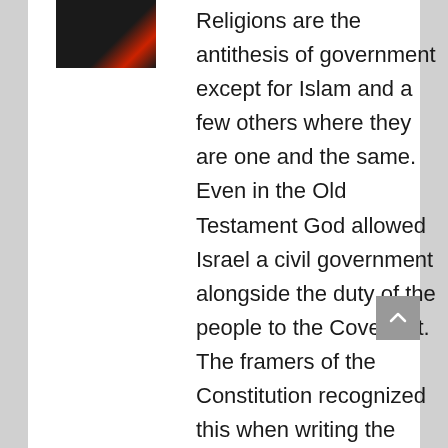[Figure (photo): Partial thumbnail image showing a person in dark clothing with a red diagonal stripe or flag element visible]
Religions are the antithesis of government except for Islam and a few others where they are one and the same. Even in the Old Testament God allowed Israel a civil government alongside the duty of the people to the Covenant. The framers of the Constitution recognized this when writing the First